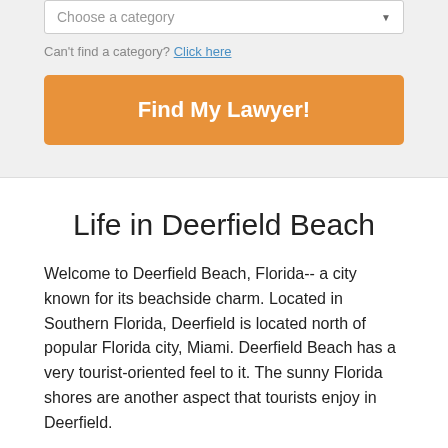[Figure (screenshot): Dropdown widget showing 'Choose a category' placeholder with arrow]
Can't find a category? Click here
[Figure (screenshot): Orange 'Find My Lawyer!' button]
Life in Deerfield Beach
Welcome to Deerfield Beach, Florida-- a city known for its beachside charm. Located in Southern Florida, Deerfield is located north of popular Florida city, Miami. Deerfield Beach has a very tourist-oriented feel to it. The sunny Florida shores are another aspect that tourists enjoy in Deerfield.